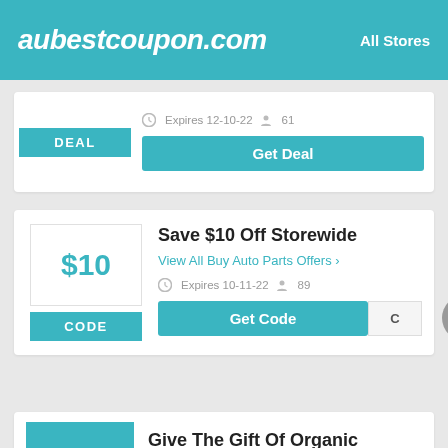aubestcoupon.com — All Stores
DEAL — Expires 12-10-22  61
Get Deal
Save $10 Off Storewide
View All Buy Auto Parts Offers ›
CODE — Expires 10-11-22  89
Get Code  C
Give The Gift Of Organic